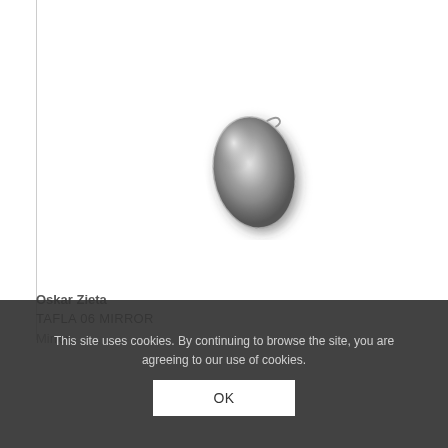[Figure (photo): Small oval metallic silver mirror (TAFLA 06 MIRROR by Oskar Zieta) shown on white background. The mirror is an inflated steel oval shape with a reflective surface, photographed from above at a slight angle.]
Oskar Zieta
TAFLA 06 MIRROR
Mirror
This site uses cookies. By continuing to browse the site, you are agreeing to our use of cookies.
OK